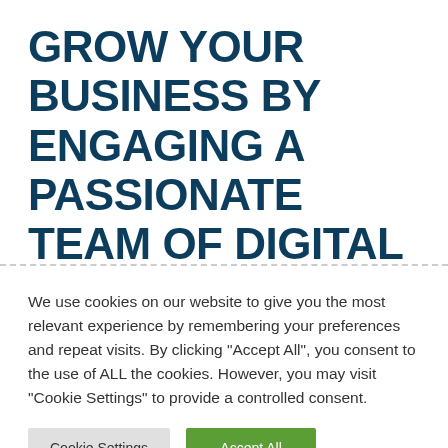GROW YOUR BUSINESS BY ENGAGING A PASSIONATE TEAM OF DIGITAL MARKETING EXPERTS WITH DEEP EXPERIENCE AND A
We use cookies on our website to give you the most relevant experience by remembering your preferences and repeat visits. By clicking "Accept All", you consent to the use of ALL the cookies. However, you may visit "Cookie Settings" to provide a controlled consent.